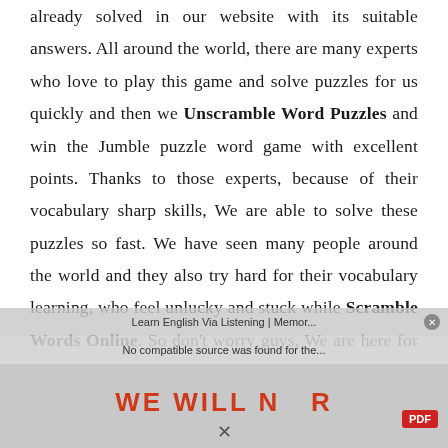already solved in our website with its suitable answers. All around the world, there are many experts who love to play this game and solve puzzles for us quickly and then we Unscramble Word Puzzles and win the Jumble puzzle word game with excellent points. Thanks to those experts, because of their vocabulary sharp skills, We are able to solve these puzzles so fast. We have seen many people around the world and they also try hard for their vocabulary learning, who feel unlucky and stuck while Scramble Words Online. So don't worry guys, We are here for your help. Kindly do scroll down for...
[Figure (screenshot): Browser overlay bar showing 'Learn English Via Listening | Memor...' with a close button, and a sub-bar reading 'No compatible source was found for the...'. Below is a banner image with text 'WE WILL N_R' in large red letters and a PDF badge.]